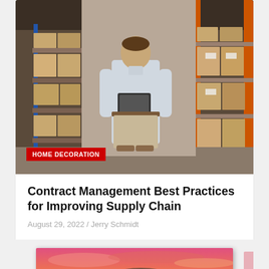[Figure (photo): Man in a warehouse holding a tablet, surrounded by shelves stacked with cardboard boxes. Industrial shelving with blue and orange metal racks visible.]
HOME DECORATION
Contract Management Best Practices for Improving Supply Chain
August 29, 2022 / Jerry Schmidt
[Figure (photo): A framed print or canvas showing a scenic landscape with a rocky island, turquoise water, and a dramatic pink and orange sunset sky.]